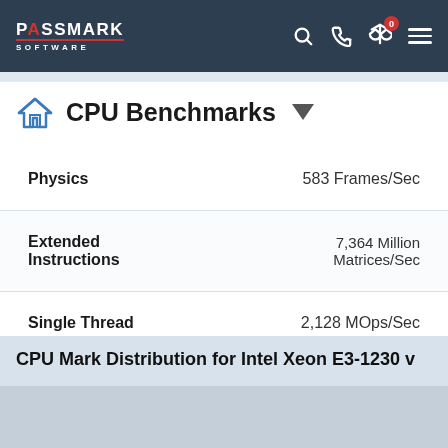PASSMARK SOFTWARE
CPU Benchmarks
| Metric | Value |
| --- | --- |
| Physics | 583 Frames/Sec |
| Extended Instructions | 7,364 Million Matrices/Sec |
| Single Thread | 2,128 MOps/Sec |
From submitted results to PerformanceTest V10 as of 30th of August 2022.
CPU Mark Distribution for Intel Xeon E3-1230 v